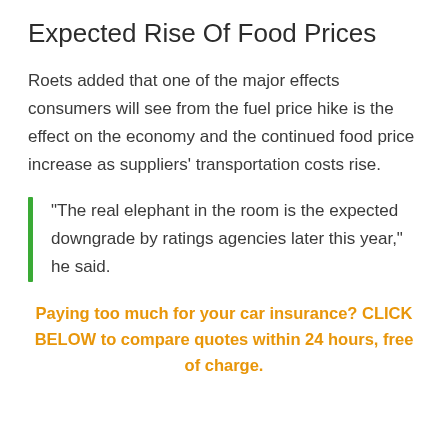Expected Rise Of Food Prices
Roets added that one of the major effects consumers will see from the fuel price hike is the effect on the economy and the continued food price increase as suppliers' transportation costs rise.
“The real elephant in the room is the expected downgrade by ratings agencies later this year,” he said.
Paying too much for your car insurance? CLICK BELOW to compare quotes within 24 hours, free of charge.